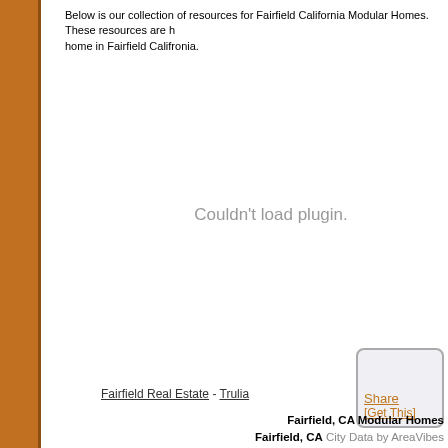Below is our collection of resources for Fairfield California Modular Homes. These resources are h... home in Fairfield Califronia.
[Figure (other): Plugin placeholder area showing 'Couldn't load plugin.' message in gray text]
[Figure (other): Share widget box with 'Share' and '[Get This]' links in orange/gold color, rounded rectangle border]
Fairfield Real Estate - Trulia
Fairfield, CA Modular Homes
Fairfield, CA City Data by AreaVibes